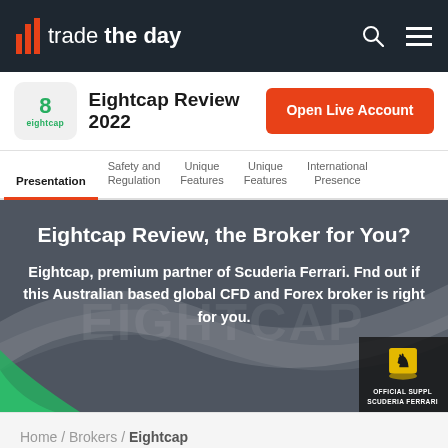trade the day
Eightcap Review 2022
Open Live Account
Presentation
Safety and Regulation
Unique Features
Unique Features
International Presence
Eightcap Review, the Broker for You?
Eightcap, premium partner of Scuderia Ferrari. Fnd out if this Australian based global CFD and Forex broker is right for you.
OFFICIAL SUPPL SCUDERIA FERRARI
Home / Brokers / Eightcap